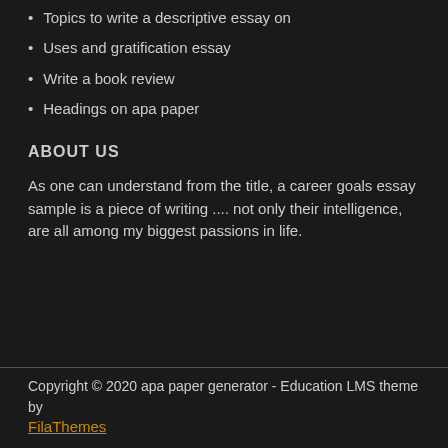Topics to write a descriptive essay on
Uses and gratification essay
Write a book review
Headings on apa paper
ABOUT US
As one can understand from the title, a career goals essay sample is a piece of writing .... not only their intelligence, are all among my biggest passions in life.
Copyright © 2020 apa paper generator - Education LMS theme by FilaThemes